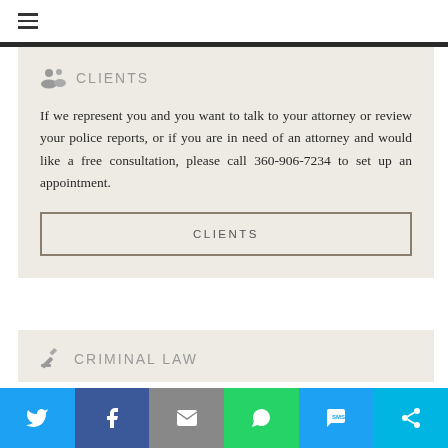≡ (hamburger menu icon)
CLIENTS
If we represent you and you want to talk to your attorney or review your police reports, or if you are in need of an attorney and would like a free consultation, please call 360-906-7234 to set up an appointment.
CLIENTS
CRIMINAL LAW
Twitter | Facebook | Email | WhatsApp | SMS | Share